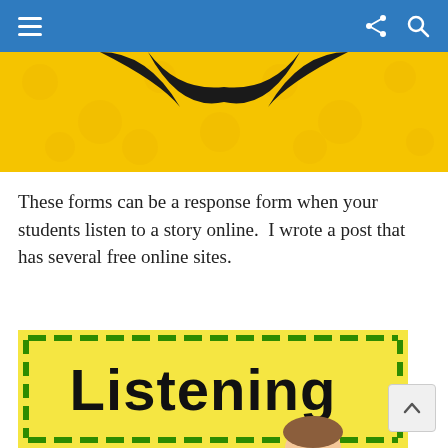Navigation bar with hamburger menu, share icon, and search icon
[Figure (illustration): Yellow background with polka dots and a decorative black bat-wing or banner shape at the top. Part of an educational clipart banner.]
These forms can be a response form when your students listen to a story online.  I wrote a post that has several free online sites.
[Figure (illustration): Yellow background with a green dashed border frame. Large bold black text reading 'Listening' with a cartoon child character visible at the bottom.]